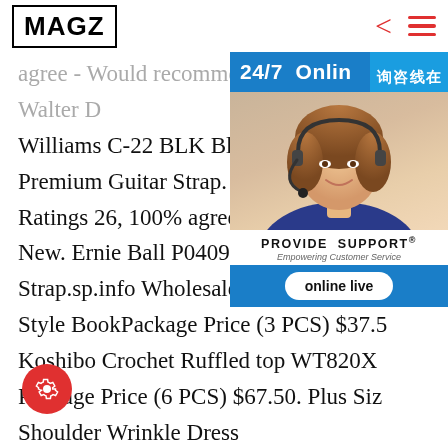MAGZ
agree - Would recommend. $29.99 from Walter D Williams C-22 BLK Black 3 1/2" Leather Premium Guitar Strap. 5 out of 5 stars Ratings 26, 100% agree - Would recommend New. Ernie Ball P04093 Regal Black Ja Strap.sp.info Wholesale Women's Ap Style BookPackage Price (3 PCS) $37.5 Koshibo Crochet Ruffled top WT820X Package Price (6 PCS) $67.50. Plus Siz Shoulder Wrinkle Dress BD81073XC-Red-3pc. Package Price (3 PCS) $56.25. Wool Dobby Pintuck Hi-Low Plus Tunic WT821X-Off-White (6 PCsp.info Work Coveralls - Dickies Dickies Mens and Big Mens Blended Long Sleeve Coveralls. Average
[Figure (screenshot): 24/7 Online live chat support advertisement with customer service representative photo, PROVIDE SUPPORT branding, online live button, and Chinese text 在线咨询]